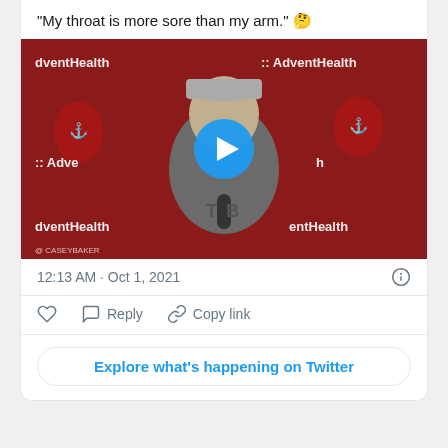“My throat is more sore than my arm.” 🤔
[Figure (screenshot): Video thumbnail of a man at a Tampa Bay Buccaneers press conference in front of an AdventHealth branded red backdrop, with a blue play button overlay. Watermark reads '@CASEYBAKER'.]
12:13 AM · Oct 1, 2021
Reply   Copy link
Explore what’s happening on Twitter